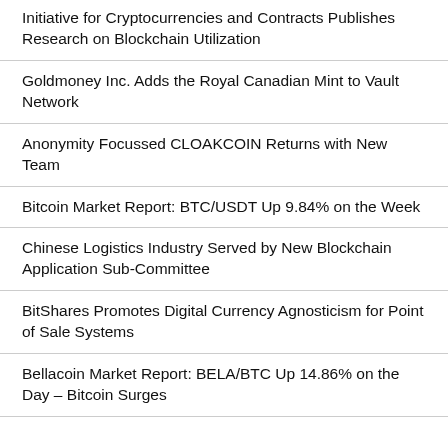Initiative for Cryptocurrencies and Contracts Publishes Research on Blockchain Utilization
Goldmoney Inc. Adds the Royal Canadian Mint to Vault Network
Anonymity Focussed CLOAKCOIN Returns with New Team
Bitcoin Market Report: BTC/USDT Up 9.84% on the Week
Chinese Logistics Industry Served by New Blockchain Application Sub-Committee
BitShares Promotes Digital Currency Agnosticism for Point of Sale Systems
Bellacoin Market Report: BELA/BTC Up 14.86% on the Day – Bitcoin Surges